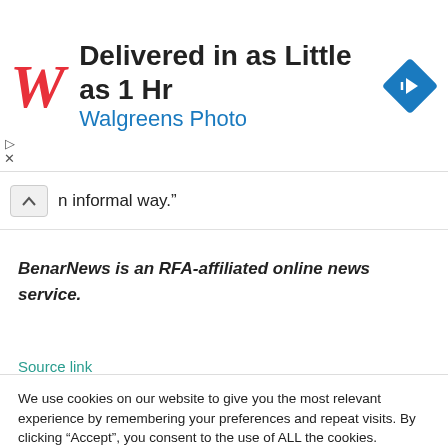[Figure (other): Walgreens Photo advertisement banner: Walgreens red italic W logo, text 'Delivered in as Little as 1 Hr' and 'Walgreens Photo' in blue, blue diamond navigation icon on right]
n informal way.”
BenarNews is an RFA-affiliated online news service.
Source link
We use cookies on our website to give you the most relevant experience by remembering your preferences and repeat visits. By clicking “Accept”, you consent to the use of ALL the cookies.
Do not sell my personal information.